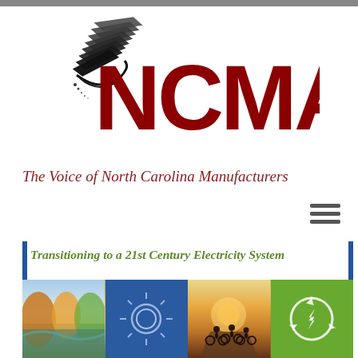[Figure (logo): NCMA logo with stacked chevron/arrow graphic in gray-black above the text 'NCMA' in large dark red bold letters]
The Voice of North Carolina Manufacturers
[Figure (infographic): Content section with title 'Transitioning to a 21st Century Electricity System' and a four-panel image strip: a nature/river scene, a blue panel with sun icon, a cyclists silhouette photo, and a green panel with a lightning bolt recycling icon]
Transitioning to a 21st Century Electricity System